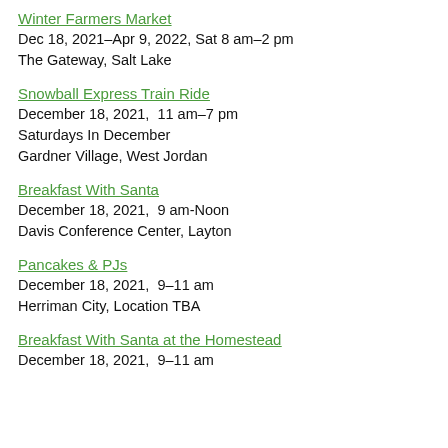Winter Farmers Market
Dec 18, 2021–Apr 9, 2022, Sat 8 am–2 pm
The Gateway, Salt Lake
Snowball Express Train Ride
December 18, 2021,  11 am–7 pm
Saturdays In December
Gardner Village, West Jordan
Breakfast With Santa
December 18, 2021,  9 am-Noon
Davis Conference Center, Layton
Pancakes & PJs
December 18, 2021,  9–11 am
Herriman City, Location TBA
Breakfast With Santa at the Homestead
December 18, 2021,  9–11 am